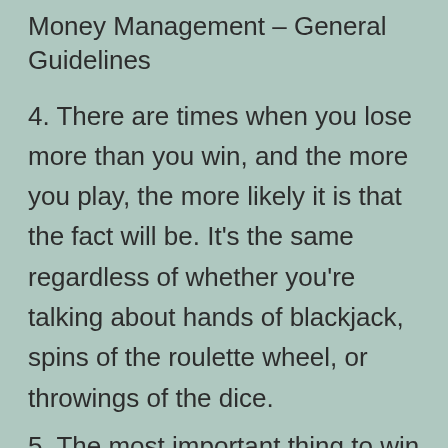Money Management – General Guidelines
4. There are times when you lose more than you win, and the more you play, the more likely it is that the fact will be. It's the same regardless of whether you're talking about hands of blackjack, spins of the roulette wheel, or throwings of the dice.
5. The most important thing to win is to increase your winnings and minimize your losses.
6. Learn to memorize and remember the odds of the specific game you've chosen to play, as